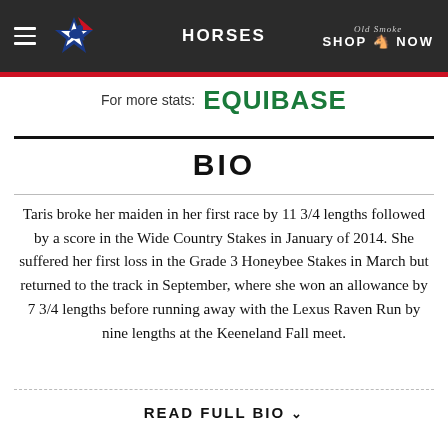HORSES
[Figure (logo): Equibase logo with green text: EQUIBASE, preceded by 'For more stats:' label]
BIO
Taris broke her maiden in her first race by 11 3/4 lengths followed by a score in the Wide Country Stakes in January of 2014. She suffered her first loss in the Grade 3 Honeybee Stakes in March but returned to the track in September, where she won an allowance by 7 3/4 lengths before running away with the Lexus Raven Run by nine lengths at the Keeneland Fall meet.
READ FULL BIO ∨